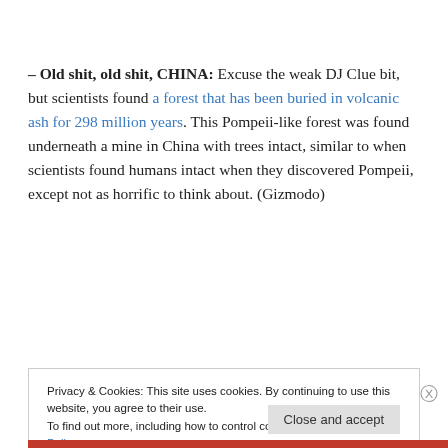– Old shit, old shit, CHINA: Excuse the weak DJ Clue bit, but scientists found a forest that has been buried in volcanic ash for 298 million years. This Pompeii-like forest was found underneath a mine in China with trees intact, similar to when scientists found humans intact when they discovered Pompeii, except not as horrific to think about. (Gizmodo)
Privacy & Cookies: This site uses cookies. By continuing to use this website, you agree to their use. To find out more, including how to control cookies, see here: Cookie Policy